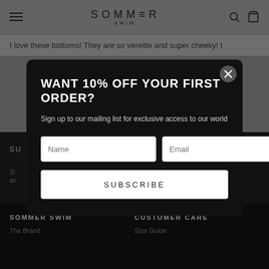[Figure (screenshot): Sommer Swim website header with hamburger menu, centered logo 'SOMMER swim', and search and cart icons on right]
I love these bottoms! They are so vereitle and super cheeky! I
SUBSCRIBE
Sign
an
SOMMER SWIM
The Brand
CUSTOMER CARE
Size Guide
[Figure (screenshot): Email signup modal popup with title 'WANT 10% OFF YOUR FIRST ORDER?', subtitle 'Sign up to our mailing list for exclusive access to our world', Name and Email input fields, and a SUBSCRIBE button. Close button in top right corner.]